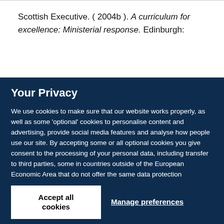Scottish Executive. ( 2004b ). A curriculum for excellence: Ministerial response. Edinburgh:
Your Privacy
We use cookies to make sure that our website works properly, as well as some 'optional' cookies to personalise content and advertising, provide social media features and analyse how people use our site. By accepting some or all optional cookies you give consent to the processing of your personal data, including transfer to third parties, some in countries outside of the European Economic Area that do not offer the same data protection standards as the country where you live. You can decide which optional cookies to accept by clicking on 'Manage Settings', where you can also find more information about how your personal data is processed. Further information can be found in our privacy policy.
Accept all cookies
Manage preferences